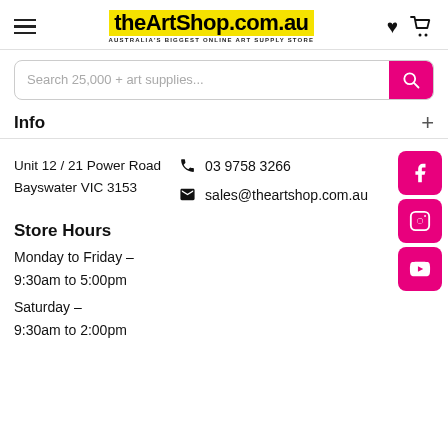theArtShop.com.au — AUSTRALIA'S BIGGEST ONLINE ART SUPPLY STORE
Search 25,000 + art supplies...
Info
Unit 12 / 21 Power Road Bayswater VIC 3153
03 9758 3266
sales@theartshop.com.au
Store Hours
Monday to Friday –
9:30am to 5:00pm
Saturday –
9:30am to 2:00pm